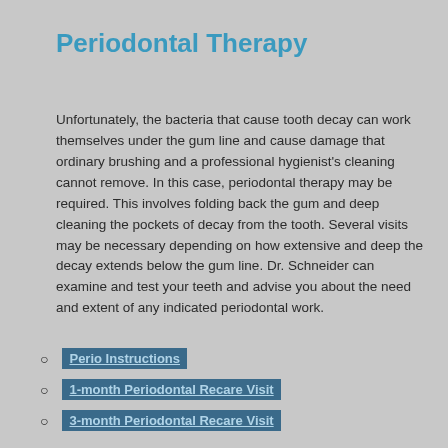Periodontal Therapy
Unfortunately, the bacteria that cause tooth decay can work themselves under the gum line and cause damage that ordinary brushing and a professional hygienist's cleaning cannot remove. In this case, periodontal therapy may be required. This involves folding back the gum and deep cleaning the pockets of decay from the tooth. Several visits may be necessary depending on how extensive and deep the decay extends below the gum line. Dr. Schneider can examine and test your teeth and advise you about the need and extent of any indicated periodontal work.
Perio Instructions
1-month Periodontal Recare Visit
3-month Periodontal Recare Visit